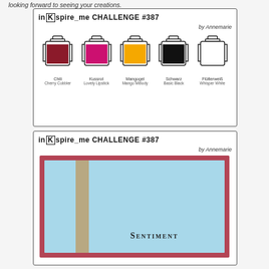looking forward to seeing your creations.
[Figure (infographic): in{K}spire_me CHALLENGE #387 by Annemarie - color challenge card showing 5 ink jars: Cherry Cobbler, Lovely Lipstick, Mango Melody, Basic Black, Whisper White]
[Figure (infographic): in{K}spire_me CHALLENGE #387 by Annemarie - sketch/layout challenge card showing a card sketch with sentiment area]